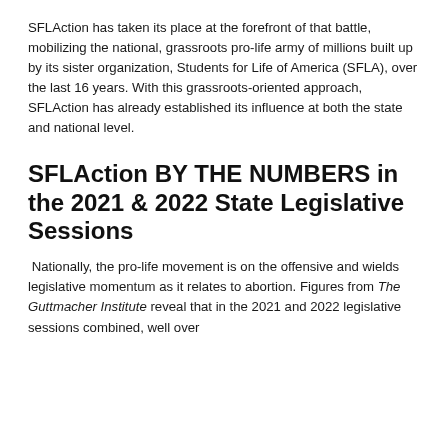SFLAction has taken its place at the forefront of that battle, mobilizing the national, grassroots pro-life army of millions built up by its sister organization, Students for Life of America (SFLA), over the last 16 years. With this grassroots-oriented approach, SFLAction has already established its influence at both the state and national level.
SFLAction BY THE NUMBERS in the 2021 & 2022 State Legislative Sessions
Nationally, the pro-life movement is on the offensive and wields legislative momentum as it relates to abortion. Figures from The Guttmacher Institute reveal that in the 2021 and 2022 legislative sessions combined, well over